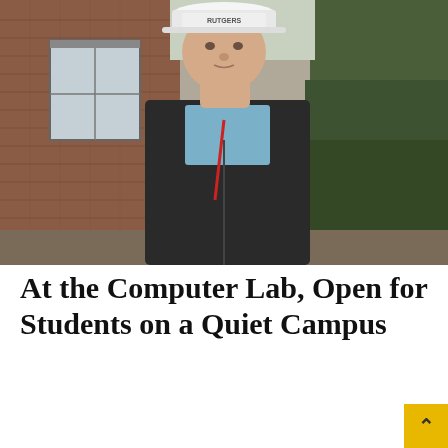[Figure (photo): A man wearing a white hard hat labeled 'RUTGERS' and a dark jacket over a light blue collared shirt, standing outside in front of a brick building with a window and evergreen shrubs. He appears to be a facilities or construction worker on campus.]
At the Computer Lab, Open for Students on a Quiet Campus